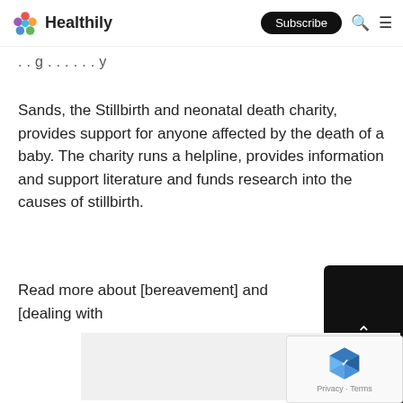Healthily — Subscribe
…[partial previous text cut off]…
Sands, the Stillbirth and neonatal death charity, provides support for anyone affected by the death of a baby. The charity runs a helpline, provides information and support literature and funds research into the causes of stillbirth.
Read more about [bereavement] and [dealing with…
[Figure (other): Grey placeholder image block]
[Figure (other): Back to top button — dark button with upward arrow and 'Top' label]
[Figure (other): Google reCAPTCHA widget with logo and Privacy/Terms links]